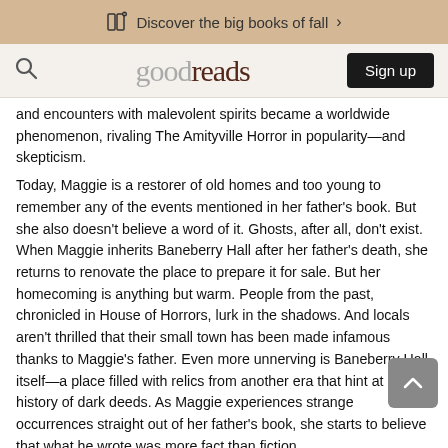Discover the big books of fall >
goodreads  Sign up
and encounters with malevolent spirits became a worldwide phenomenon, rivaling The Amityville Horror in popularity—and skepticism.
Today, Maggie is a restorer of old homes and too young to remember any of the events mentioned in her father's book. But she also doesn't believe a word of it. Ghosts, after all, don't exist. When Maggie inherits Baneberry Hall after her father's death, she returns to renovate the place to prepare it for sale. But her homecoming is anything but warm. People from the past, chronicled in House of Horrors, lurk in the shadows. And locals aren't thrilled that their small town has been made infamous thanks to Maggie's father. Even more unnerving is Baneberry Hall itself—a place filled with relics from another era that hint at a history of dark deeds. As Maggie experiences strange occurrences straight out of her father's book, she starts to believe that what he wrote was more fact than fiction.
Review- A gripping story of mystery and horror that had me